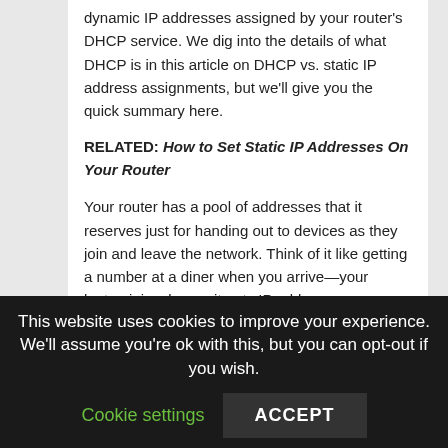dynamic IP addresses assigned by your router's DHCP service. We dig into the details of what DHCP is in this article on DHCP vs. static IP address assignments, but we'll give you the quick summary here.
RELATED: How to Set Static IP Addresses On Your Router
Your router has a pool of addresses that it reserves just for handing out to devices as they join and leave the network. Think of it like getting a number at a diner when you arrive—your laptop joins, boom, it gets IP address 192.168.1.98. Your iPhone joins, boom, it gets address 192.168.1.99. If you take those devices offline for a period of time or the router is rebooted, then the whole IP address lottery happens all over again.
This website uses cookies to improve your experience. We'll assume you're ok with this, but you can opt-out if you wish.
Cookie settings
ACCEPT